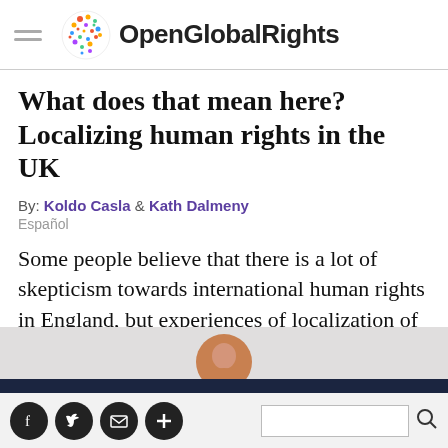OpenGlobalRights
What does that mean here? Localizing human rights in the UK
By: Koldo Casla & Kath Dalmeny
Español
Some people believe that there is a lot of skepticism towards international human rights in England, but experiences of localization of rights are making a difference ...
Social share icons: Facebook, Twitter, Email, More | Search box